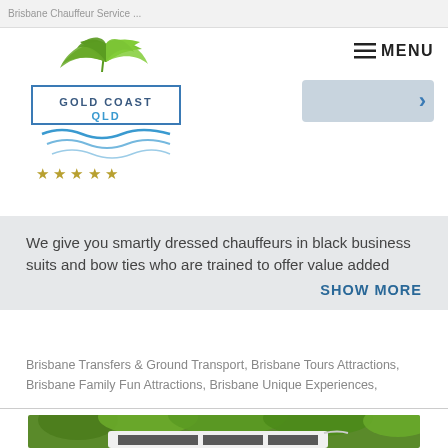Brisbane Chauffeur Service
[Figure (logo): Gold Coast QLD logo with green palm leaves, blue waves, and text 'GOLD COAST QLD' in a box, with 5 gold stars below]
≡ MENU
We give you smartly dressed chauffeurs in black business suits and bow ties who are trained to offer value added SHOW MORE
Brisbane Transfers & Ground Transport, Brisbane Tours Attractions, Brisbane Family Fun Attractions, Brisbane Unique Experiences,
[Figure (photo): A white coach bus parked in a lush green rainforest setting with tall trees in the background]